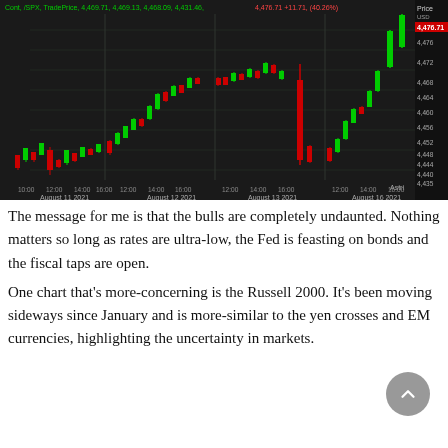[Figure (continuous-plot): Candlestick chart showing S&P 500 (SPX) TradePrice from August 11-16 2021, with header showing: Cont, /SPX, TradePrice, 4,469.71, 4,469.13, 4,468.09, 4,431.46, 4,476.71 +11.71, (40.26%). Price axis (USD) on right ranging approximately 4,435 to 4,476. X-axis shows times 10:00, 12:00, 14:00, 16:00 for August 11, 12, 13, 16 2021. Green up-candles and red down-candles showing an overall upward trend with a sharp dip on August 16 before recovering to new highs. Label 'Astri' in bottom right corner of chart.]
The message for me is that the bulls are completely undaunted. Nothing matters so long as rates are ultra-low, the Fed is feasting on bonds and the fiscal taps are open.
One chart that's more-concerning is the Russell 2000. It's been moving sideways since January and is more-similar to the yen crosses and EM currencies, highlighting the uncertainty in markets.